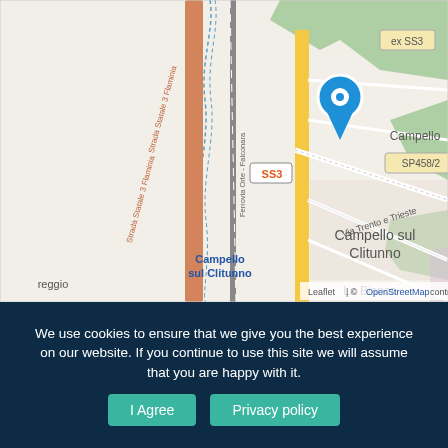[Figure (map): OpenStreetMap showing Campello sul Clitunno area in Italy. Features roads SS3, ex SS3, SP458/2, Ferrovia Orte-Falconara, Via Trento e Trieste. Location pin (blue) marks a point near ex SS3. Labels include: Campello, Campello sul Clitunno, La Bianca, reggio. Attribution: Leaflet | © OpenStreetMap contributors.]
We use cookies to ensure that we give you the best experience on our website. If you continue to use this site we will assume that you are happy with it.
I Agree
Privacy policy